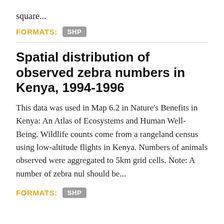square...
FORMATS:  SHP
Spatial distribution of observed zebra numbers in Kenya, 1994-1996
This data was used in Map 6.2 in Nature's Benefits in Kenya: An Atlas of Ecosystems and Human Well-Being. Wildlife counts come from a rangeland census using low-altitude flights in Kenya. Numbers of animals observed were aggregated to 5km grid cells. Note: A number of zebra nul should be...
FORMATS:  SHP